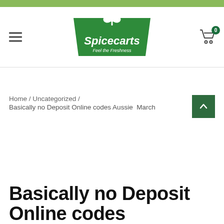[Figure (logo): Spicecarts logo — green trapezoid shape with white clover leaf and white text 'Spicecarts Feel the Freshness']
Home / Uncategorized /
Basically no Deposit Online codes Aussie March
Basically no Deposit Online codes